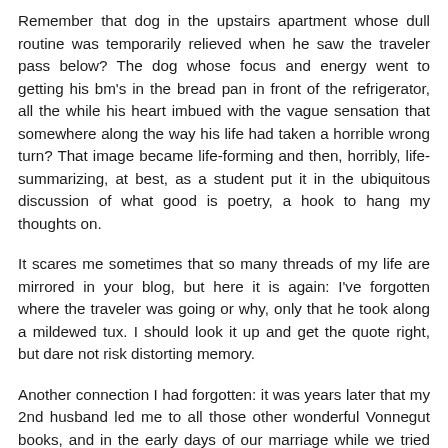Remember that dog in the upstairs apartment whose dull routine was temporarily relieved when he saw the traveler pass below? The dog whose focus and energy went to getting his bm's in the bread pan in front of the refrigerator, all the while his heart imbued with the vague sensation that somewhere along the way his life had taken a horrible wrong turn? That image became life-forming and then, horribly, life-summarizing, at best, as a student put it in the ubiquitous discussion of what good is poetry, a hook to hang my thoughts on.
It scares me sometimes that so many threads of my life are mirrored in your blog, but here it is again: I've forgotten where the traveler was going or why, only that he took along a mildewed tux. I should look it up and get the quote right, but dare not risk distorting memory.
Another connection I had forgotten: it was years later that my 2nd husband led me to all those other wonderful Vonnegut books, and in the early days of our marriage while we tried so hard to please each other and failed so often, our sorry-excuse, I'll-do-better mantra became: I'll